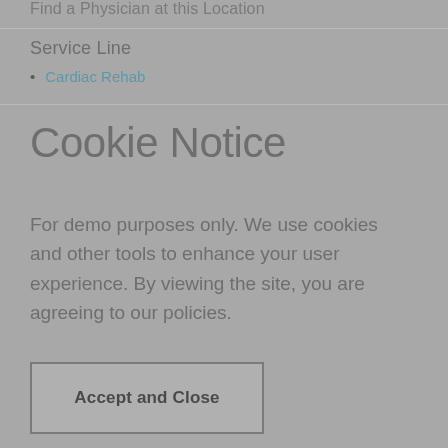Find a Physician at this Location
Service Line
Cardiac Rehab
Cookie Notice
For demo purposes only. We use cookies and other tools to enhance your user experience. By viewing the site, you are agreeing to our policies.
Accept and Close